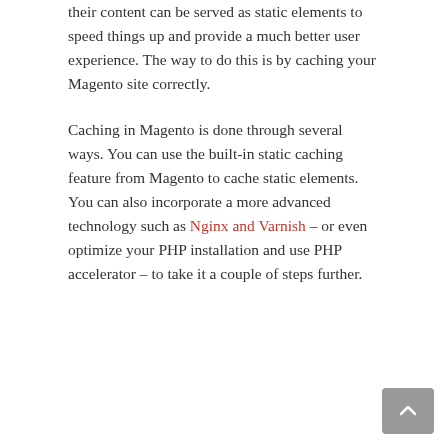their content can be served as static elements to speed things up and provide a much better user experience. The way to do this is by caching your Magento site correctly.
Caching in Magento is done through several ways. You can use the built-in static caching feature from Magento to cache static elements. You can also incorporate a more advanced technology such as Nginx and Varnish – or even optimize your PHP installation and use PHP accelerator – to take it a couple of steps further.